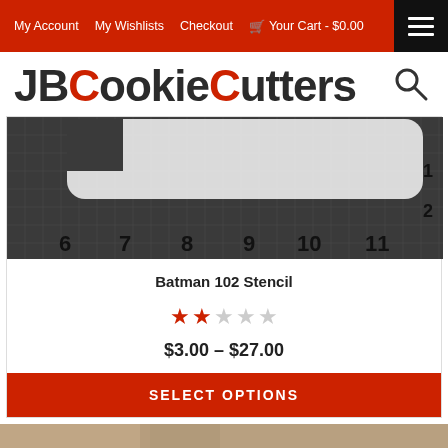My Account   My Wishlists   Checkout   Your Cart - $0.00
JBCookieCutters
[Figure (photo): Photo of a Batman 102 stencil placed on a ruled cutting mat showing measurements from 6 to 12 inches]
Batman 102 Stencil
2 out of 5 stars
$3.00 - $27.00
SELECT OPTIONS